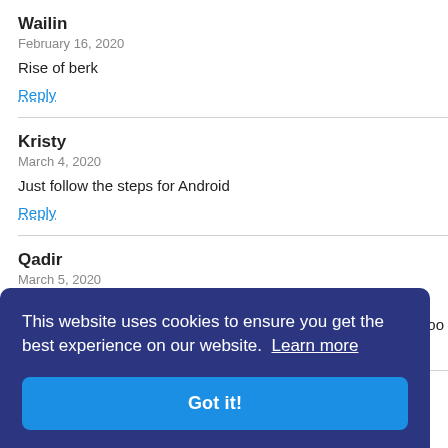Wailin
February 16, 2020
Rise of berk
Reply
Kristy
March 4, 2020
Just follow the steps for Android
Reply
Qadir
March 5, 2020
…ets too
This website uses cookies to ensure you get the best experience on our website. Learn more
Got it!
Hi, we believe the Panda Helper apk version